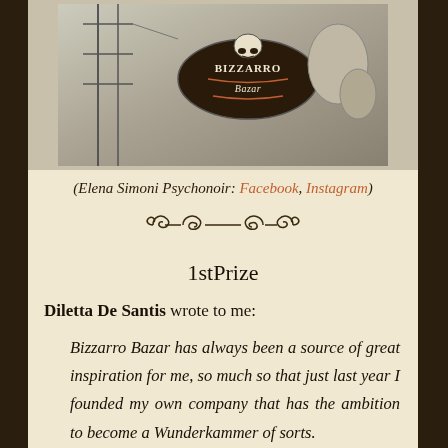[Figure (illustration): Black and white pencil drawing of a Bizzarro Bazar themed scene with figures and a sign reading 'BIZZARRO Bazar']
(Elena Simoni Psychonoir: Facebook, Instagram)
1stPrize
Diletta De Santis wrote to me:
Bizzarro Bazar has always been a source of great inspiration for me, so much so that just last year I founded my own company that has the ambition to become a Wunderkammer of sorts.